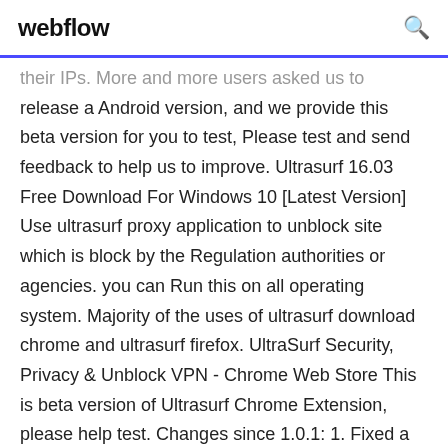webflow
their IPs. More and more users asked us to release a Android version, and we provide this beta version for you to test, Please test and send feedback to help us to improve. Ultrasurf 16.03 Free Download For Windows 10 [Latest Version] Use ultrasurf proxy application to unblock site which is block by the Regulation authorities or agencies. you can Run this on all operating system. Majority of the uses of ultrasurf download chrome and ultrasurf firefox. UltraSurf Security, Privacy & Unblock VPN - Chrome Web Store This is beta version of Ultrasurf Chrome Extension, please help test. Changes since 1.0.1: 1. Fixed a bug where it stays in connecting state after computer sleeps